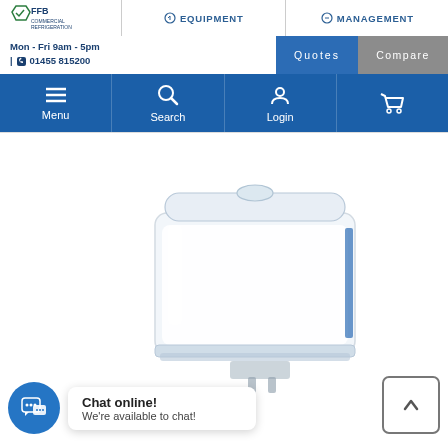[Figure (screenshot): Website header with FFB Commercial Refrigeration logo, Equipment and Management navigation tabs]
Mon - Fri 9am - 5pm | 01455 815200
Quotes
Compare
Menu
Search
Login
[Figure (photo): Commercial refrigeration product - clear container/dispenser unit with lid and level indicator]
Chat online! We're available to chat!